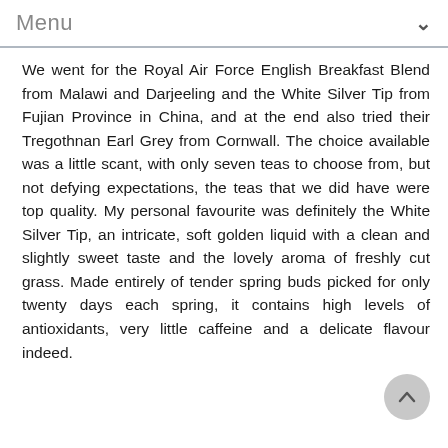Menu
We went for the Royal Air Force English Breakfast Blend from Malawi and Darjeeling and the White Silver Tip from Fujian Province in China, and at the end also tried their Tregothnan Earl Grey from Cornwall. The choice available was a little scant, with only seven teas to choose from, but not defying expectations, the teas that we did have were top quality. My personal favourite was definitely the White Silver Tip, an intricate, soft golden liquid with a clean and slightly sweet taste and the lovely aroma of freshly cut grass. Made entirely of tender spring buds picked for only twenty days each spring, it contains high levels of antioxidants, very little caffeine and a delicate flavour indeed.